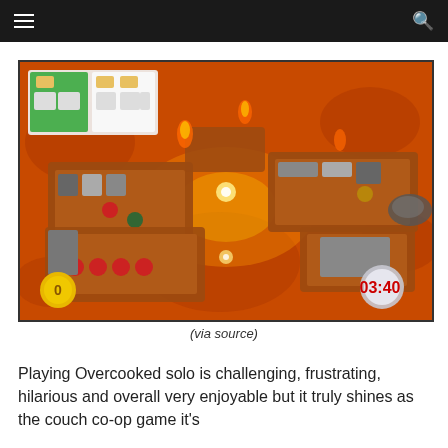≡  [search icon]
[Figure (screenshot): Screenshot from the video game Overcooked showing a volcanic lava level with game UI elements including order tickets in top left, a coin counter showing 0 in bottom left, and a timer showing 03:40 in bottom right. Multiple kitchen platforms float over lava with characters and kitchen equipment visible.]
(via source)
Playing Overcooked solo is challenging, frustrating, hilarious and overall very enjoyable but it truly shines as the couch co-op game it's